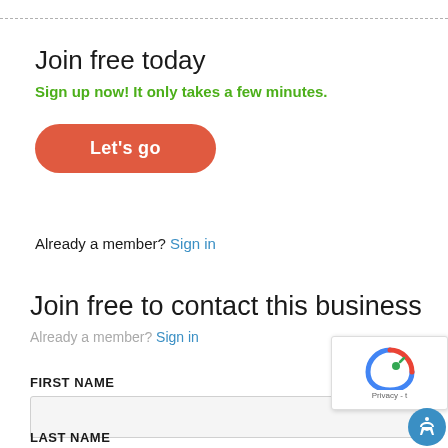Join free today
Sign up now! It only takes a few minutes.
Let's go
Already a member? Sign in
Join free to contact this business
Already a member? Sign in
FIRST NAME
LAST NAME